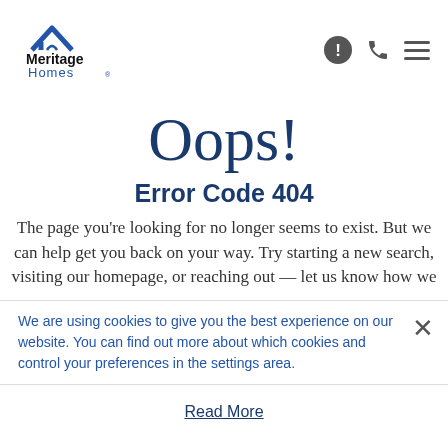[Figure (logo): Meritage Homes logo with house roof icon and text 'Meritage Homes']
Oops!
Error Code 404
The page you’re looking for no longer seems to exist. But we can help get you back on your way. Try starting a new search, visiting our homepage, or reaching out — let us know how we
We are using cookies to give you the best experience on our website. You can find out more about which cookies and control your preferences in the settings area.
Read More